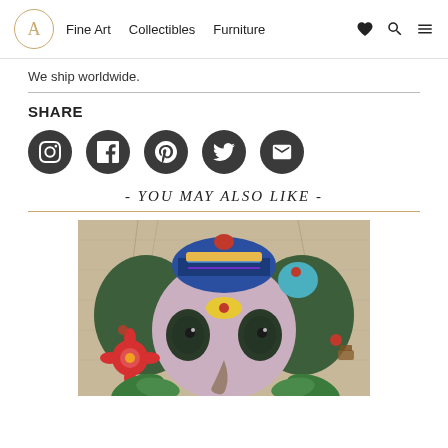A Fine Art  Collectibles  Furniture
We ship worldwide.
SHARE
[Figure (other): Social media share icons: Instagram, Facebook, Pinterest, Twitter, Email — dark circular buttons]
- YOU MAY ALSO LIKE -
[Figure (photo): Colorful painting of Ganesha with large eyes, decorative crown, elephant ears in green, red flower, blue bird, on textured beige background]